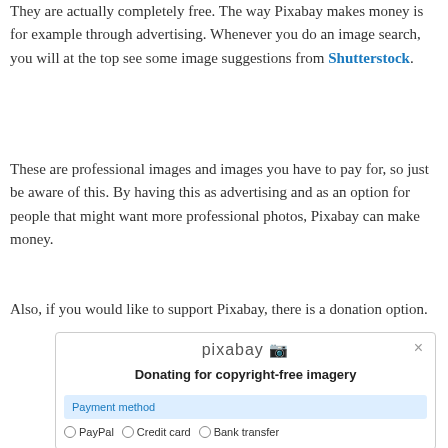They are actually completely free. The way Pixabay makes money is for example through advertising. Whenever you do an image search, you will at the top see some image suggestions from Shutterstock.
These are professional images and images you have to pay for, so just be aware of this. By having this as advertising and as an option for people that might want more professional photos, Pixabay can make money.
Also, if you would like to support Pixabay, there is a donation option.
[Figure (screenshot): Pixabay donation dialog showing 'Donating for copyright-free imagery' with payment method options: PayPal, Credit card, Bank transfer]